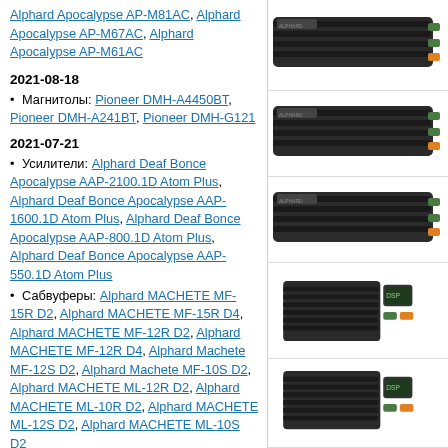Alphard Apocalypse AP-M81AC, Alphard Apocalypse AP-M67AC, Alphard Apocalypse AP-M61AC
2021-08-18
Магнитолы: Pioneer DMH-A4450BT, Pioneer DMH-A241BT, Pioneer DMH-G121
2021-07-21
Усилители: Alphard Deaf Bonce Apocalypse AAP-2100.1D Atom Plus, Alphard Deaf Bonce Apocalypse AAP-1600.1D Atom Plus, Alphard Deaf Bonce Apocalypse AAP-800.1D Atom Plus, Alphard Deaf Bonce Apocalypse AAP-550.1D Atom Plus
Сабвуферы: Alphard MACHETE MF-15R D2, Alphard MACHETE MF-15R D4, Alphard MACHETE MF-12R D2, Alphard MACHETE MF-12R D4, Alphard Machete MF-12S D2, Alphard Machete MF-10S D2, Alphard MACHETE ML-12R D2, Alphard MACHETE ML-10R D2, Alphard MACHETE ML-12S D2, Alphard MACHETE ML-10S D2
2021-06-15
Сабвуферы: Alphard DPW-1540, Alphard
[Figure (photo): Dark amplifier unit, top view, ribbed heatsink]
[Figure (photo): Dark amplifier unit, top view, ribbed heatsink]
[Figure (photo): Dark amplifier unit, top view, ribbed heatsink]
[Figure (photo): Smaller dark amplifier unit with display]
[Figure (photo): Dark amplifier unit, top view, partial]